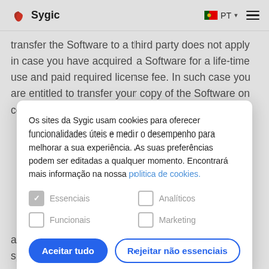Sygic — PT (language selector) — menu
transfer the Software to a third party does not apply in case you have acquired a Software for a life-time use and paid required license fee. In such case you are entitled to transfer your copy of the Software on condition you disable your own use of the copy, do
Os sites da Sygic usam cookies para oferecer funcionalidades úteis e medir o desempenho para melhorar a sua experiência. As suas preferências podem ser editadas a qualquer momento. Encontrará mais informação na nossa politica de cookies.
a license fee, you agree to pay the license fee specified on Sygic's